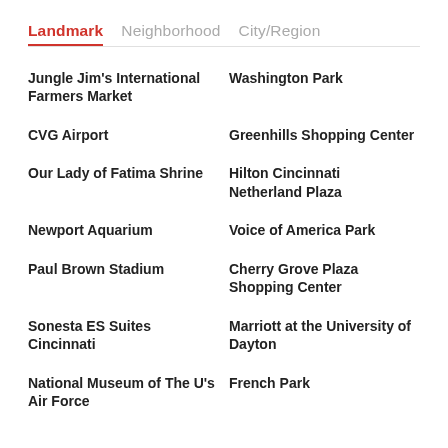Landmark   Neighborhood   City/Region
Jungle Jim's International Farmers Market
Washington Park
CVG Airport
Greenhills Shopping Center
Our Lady of Fatima Shrine
Hilton Cincinnati Netherland Plaza
Newport Aquarium
Voice of America Park
Paul Brown Stadium
Cherry Grove Plaza Shopping Center
Sonesta ES Suites Cincinnati
Marriott at the University of Dayton
National Museum of The U's Air Force
French Park